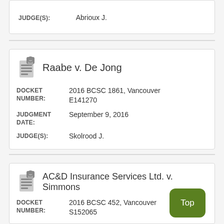JUDGE(S): Abrioux J.
Raabe v. De Jong
DOCKET NUMBER: 2016 BCSC 1861, Vancouver E141270
JUDGMENT DATE: September 9, 2016
JUDGE(S): Skolrood J.
AC&D Insurance Services Ltd. v. Simmons
DOCKET NUMBER: 2016 BCSC 452, Vancouver S152065